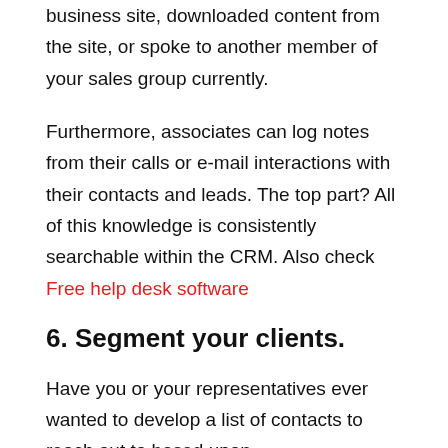business site, downloaded content from the site, or spoke to another member of your sales group currently.
Furthermore, associates can log notes from their calls or e-mail interactions with their contacts and leads. The top part? All of this knowledge is consistently searchable within the CRM. Also check Free help desk software
6. Segment your clients.
Have you or your representatives ever wanted to develop a list of contacts to reach out to based upon